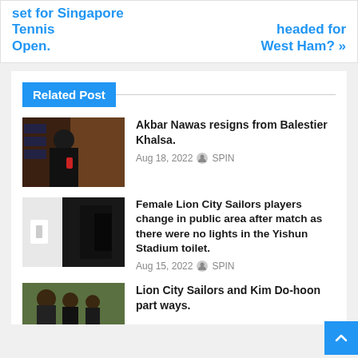set for Singapore Tennis Open.
headed for West Ham? »
Related Post
[Figure (photo): Man in black cap and glasses speaking into a red microphone at a press conference with AIA and SELECT branded backdrops]
Akbar Nawas resigns from Balestier Khalsa.
Aug 18, 2022  SPIN
[Figure (photo): Dark hallway/corridor with a light switch on a white wall and dim lighting]
Female Lion City Sailors players change in public area after match as there were no lights in the Yishun Stadium toilet.
Aug 15, 2022  SPIN
[Figure (photo): Group of people in outdoor setting, possibly a football coaching session]
Lion City Sailors and Kim Do-hoon part ways.